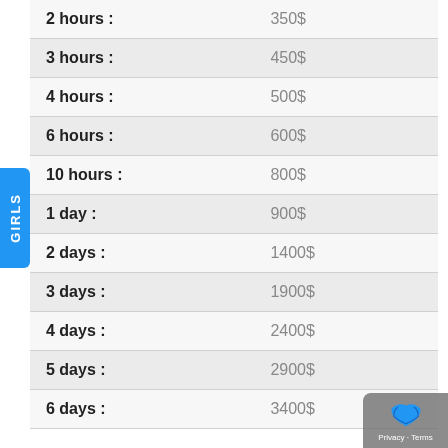| Duration | Price |
| --- | --- |
| 2 hours : | 350$ |
| 3 hours : | 450$ |
| 4 hours : | 500$ |
| 6 hours : | 600$ |
| 10 hours : | 800$ |
| 1 day : | 900$ |
| 2 days : | 1400$ |
| 3 days : | 1900$ |
| 4 days : | 2400$ |
| 5 days : | 2900$ |
| 6 days : | 3400$ |